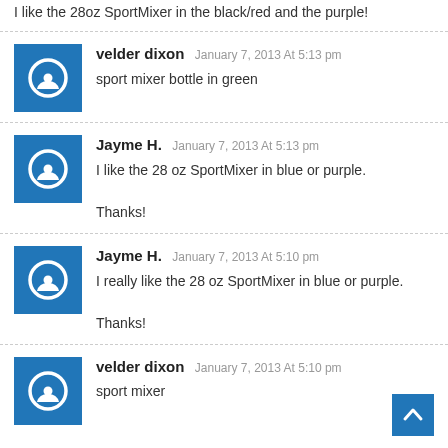I like the 28oz SportMixer in the black/red and the purple!
velder dixon January 7, 2013 At 5:13 pm
sport mixer bottle in green
Jayme H. January 7, 2013 At 5:13 pm
I like the 28 oz SportMixer in blue or purple.

Thanks!
Jayme H. January 7, 2013 At 5:10 pm
I really like the 28 oz SportMixer in blue or purple.

Thanks!
velder dixon January 7, 2013 At 5:10 pm
sport mixer